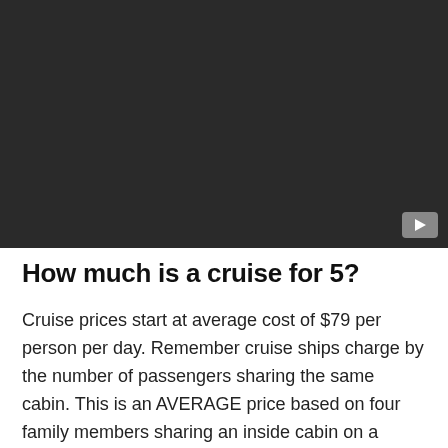[Figure (screenshot): Dark/black video player placeholder with a YouTube play button icon in the bottom-right corner]
How much is a cruise for 5?
Cruise prices start at average cost of $79 per person per day. Remember cruise ships charge by the number of passengers sharing the same cabin. This is an AVERAGE price based on four family members sharing an inside cabin on a Carnival ship.